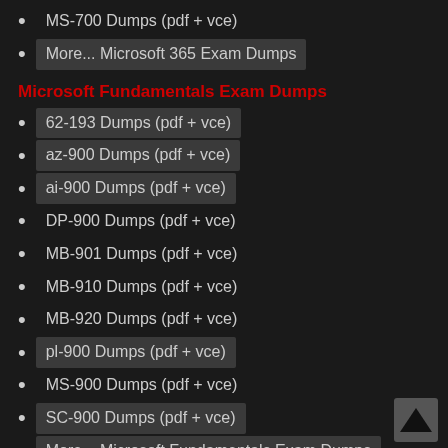MS-700 Dumps (pdf + vce)
More... Microsoft 365 Exam Dumps
Microsoft Fundamentals Exam Dumps
62-193 Dumps (pdf + vce)
az-900 Dumps (pdf + vce)
ai-900 Dumps (pdf + vce)
DP-900 Dumps (pdf + vce)
MB-901 Dumps (pdf + vce)
MB-910 Dumps (pdf + vce)
MB-920 Dumps (pdf + vce)
pl-900 Dumps (pdf + vce)
MS-900 Dumps (pdf + vce)
SC-900 Dumps (pdf + vce)
More... Microsoft Fundamentals Exam Dumps